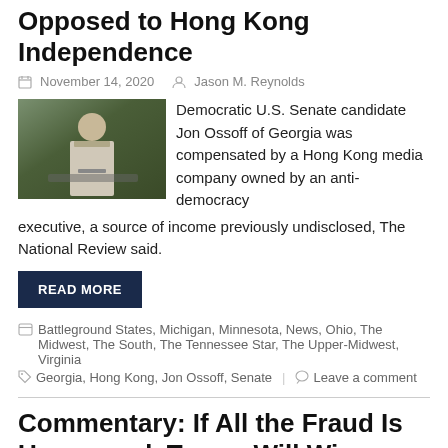Opposed to Hong Kong Independence
November 14, 2020  Jason M. Reynolds
[Figure (photo): Photo of a person speaking at a podium outdoors]
Democratic U.S. Senate candidate Jon Ossoff of Georgia was compensated by a Hong Kong media company owned by an anti-democracy executive, a source of income previously undisclosed, The National Review said.
READ MORE
Battleground States, Michigan, Minnesota, News, Ohio, The Midwest, The South, The Tennessee Star, The Upper-Midwest, Virginia
Georgia, Hong Kong, Jon Ossoff, Senate  |  Leave a comment
Commentary: If All the Fraud Is Uncovered, Trump Will Win
November 14, 2020  Michigan Star Staff
"The Times Called Officials in Every State: No